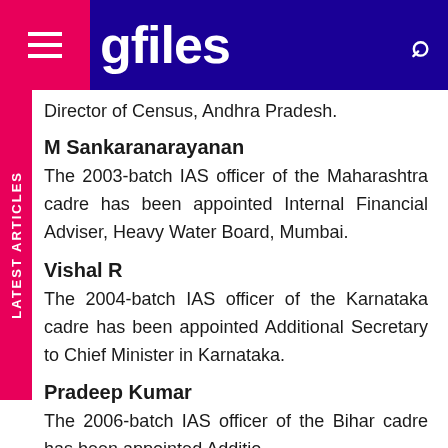gfiles
Director of Census, Andhra Pradesh.
M Sankaranarayanan
The 2003-batch IAS officer of the Maharashtra cadre has been appointed Internal Financial Adviser, Heavy Water Board, Mumbai.
Vishal R
The 2004-batch IAS officer of the Karnataka cadre has been appointed Additional Secretary to Chief Minister in Karnataka.
Pradeep Kumar
The 2006-batch IAS officer of the Bihar cadre has been appointed Additional